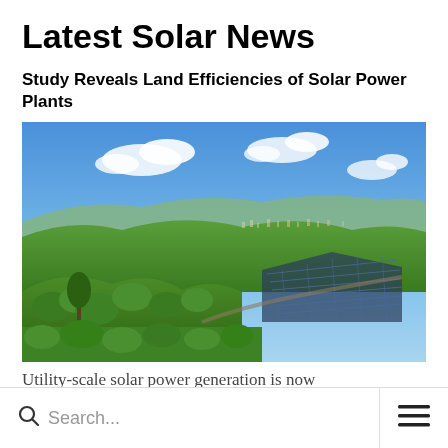Latest Solar News
Study Reveals Land Efficiencies of Solar Power Plants
[Figure (photo): Aerial landscape photo showing rolling green hills with a large utility-scale solar panel installation in the right portion, town and mountains visible in the background under a blue sky with white clouds.]
Utility-scale solar power generation is now
Search...  ☰